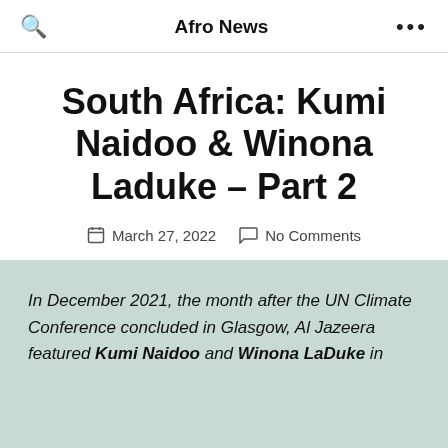Afro News
South Africa: Kumi Naidoo & Winona Laduke – Part 2
March 27, 2022   No Comments
In December 2021, the month after the UN Climate Conference concluded in Glasgow, Al Jazeera featured Kumi Naidoo and Winona LaDuke in